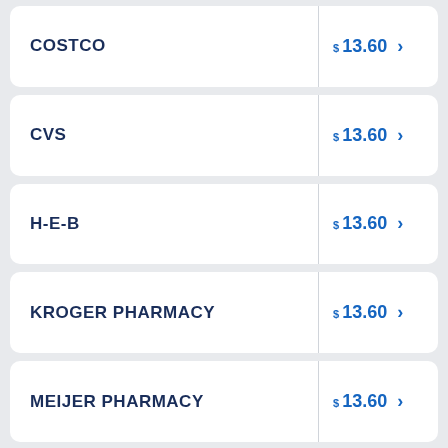COSTCO  $13.60
CVS  $13.60
H-E-B  $13.60
KROGER PHARMACY  $13.60
MEIJER PHARMACY  $13.60